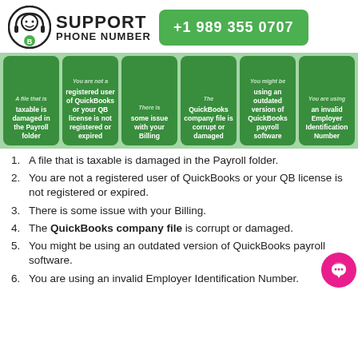SUPPORT PHONE NUMBER +1 989 355 0707
[Figure (infographic): Six green cards showing reasons: taxable file damaged in Payroll folder, not a registered user / QB license not registered or expired, some issue with Billing, QuickBooks company file is corrupt or damaged, using outdated version of QuickBooks payroll software, using an invalid Employer Identification Number]
A file that is taxable is damaged in the Payroll folder.
You are not a registered user of QuickBooks or your QB license is not registered or expired.
There is some issue with your Billing.
The QuickBooks company file is corrupt or damaged.
You might be using an outdated version of QuickBooks payroll software.
You are using an invalid Employer Identification Number